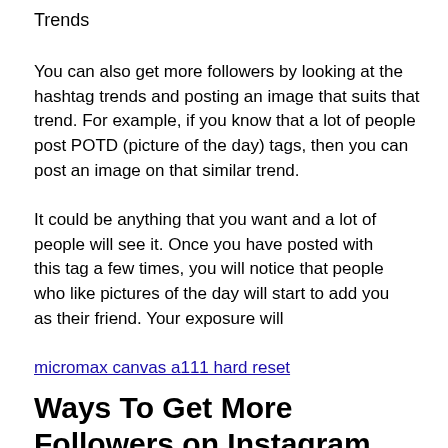Trends
You can also get more followers by looking at the hashtag trends and posting an image that suits that trend. For example, if you know that a lot of people post POTD (picture of the day) tags, then you can post an image on that similar trend.
It could be anything that you want and a lot of people will see it. Once you have posted with this tag a few times, you will notice that people who like pictures of the day will start to add you as their friend. Your exposure will
[Figure (illustration): Cartoon cat with two speech bubbles saying 'Pogłaskaj kotka']
micromax canvas a111 hard reset
Ways To Get More Followers on Instagram